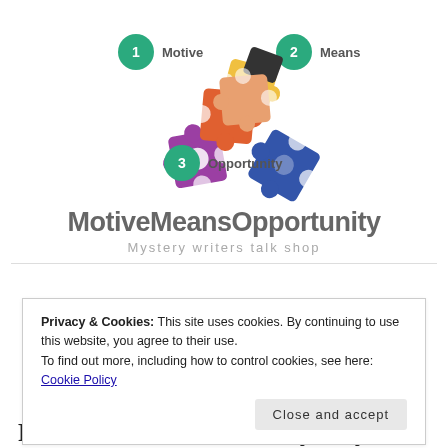[Figure (illustration): Colorful puzzle pieces illustration with numbered circles: 1 Motive (top left), 2 Means (top right), 3 Opportunity (bottom center)]
MotiveMeansOpportunity
Mystery writers talk shop
Privacy & Cookies: This site uses cookies. By continuing to use this website, you agree to their use. To find out more, including how to control cookies, see here: Cookie Policy
Close and accept
Present: A Marketville Mystery